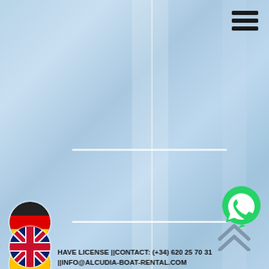[Figure (illustration): Light blue textured background with vertical and horizontal white lines forming a grid-like overlay]
[Figure (illustration): Hamburger menu icon (three horizontal black bars) in the top-right corner]
[Figure (illustration): Double upward chevron/arrow icon on the right side]
[Figure (illustration): WhatsApp icon (green circle with white phone handset) on the lower right]
[Figure (illustration): German flag circle (black/red/yellow) on the left side]
[Figure (illustration): Spanish flag circle (red/yellow/red) on the left side]
[Figure (illustration): UK flag circle on the lower left]
HAVE LICENSE ||CONTACT: (+34) 620 25 70 31 ||INFO@ALCUDIA-BOAT-RENTAL.COM